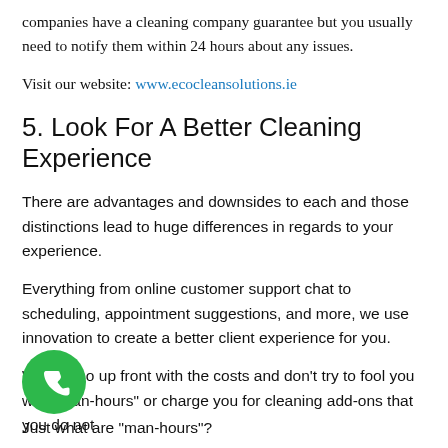companies have a cleaning company guarantee but you usually need to notify them within 24 hours about any issues.
Visit our website: www.ecocleansolutions.ie
5. Look For A Better Cleaning Experience
There are advantages and downsides to each and those distinctions lead to huge differences in regards to your experience.
Everything from online customer support chat to scheduling, appointment suggestions, and more, we use innovation to create a better client experience for you.
We're also up front with the costs and don't try to fool you with "man-hours" or charge you for cleaning add-ons that you do not
[Figure (illustration): Green circular phone call button icon]
Just what are "man-hours"?